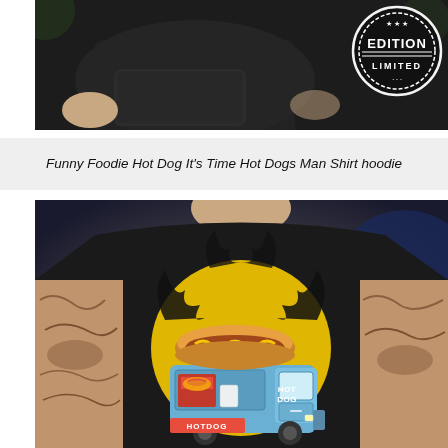[Figure (photo): Man wearing a black hoodie with a 'Limited Edition' circular badge/stamp graphic visible on the upper right chest area. The hoodie has a front kangaroo pocket. Background has green foliage.]
Funny Foodie Hot Dog It's Time Hot Dogs Man Shirt hoodie
[Figure (photo): Man wearing a black t-shirt with a hot dog food truck graphic. The graphic shows a hot dog on top of a blue food truck with yellow flame/splash background. Text on the truck reads 'HOT DOG' and 'HOTDOG'. The man has tattooed arms.]